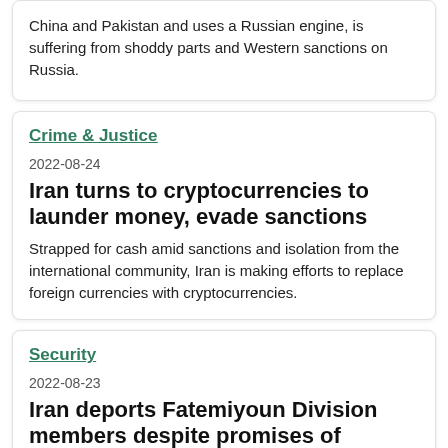China and Pakistan and uses a Russian engine, is suffering from shoddy parts and Western sanctions on Russia.
Crime & Justice
2022-08-24
Iran turns to cryptocurrencies to launder money, evade sanctions
Strapped for cash amid sanctions and isolation from the international community, Iran is making efforts to replace foreign currencies with cryptocurrencies.
Security
2022-08-23
Iran deports Fatemiyoun Division members despite promises of residency
The IRGC falsely promises houses and permanent residency for Afghans who join the Fatemiyoun Division and fight abroad on its behalf.